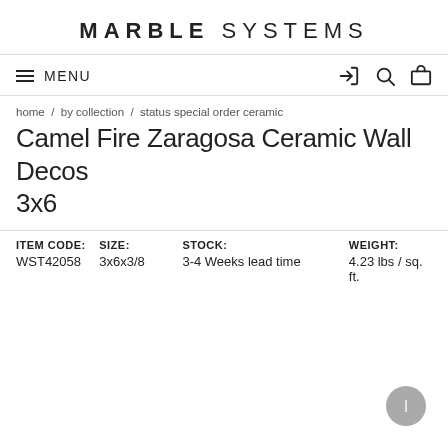MARBLE SYSTEMS
≡ MENU
home / by collection / status special order ceramic
Camel Fire Zaragosa Ceramic Wall Decos 3x6
| ITEM CODE: | SIZE: | STOCK: | WEIGHT: |
| --- | --- | --- | --- |
| WST42058 | 3x6x3/8 | 3-4 Weeks lead time | 4.23 lbs / sq. ft. |